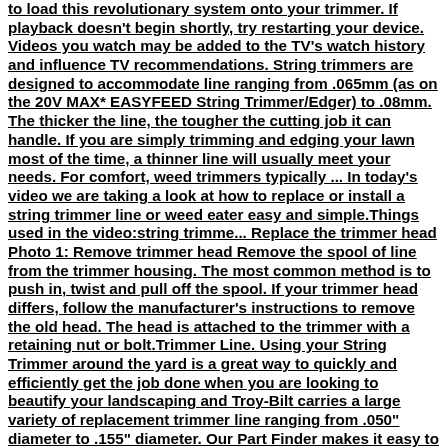to load this revolutionary system onto your trimmer. If playback doesn't begin shortly, try restarting your device. Videos you watch may be added to the TV's watch history and influence TV recommendations. String trimmers are designed to accommodate line ranging from .065mm (as on the 20V MAX* EASYFEED String Trimmer/Edger) to .08mm. The thicker the line, the tougher the cutting job it can handle. If you are simply trimming and edging your lawn most of the time, a thinner line will usually meet your needs. For comfort, weed trimmers typically ... In today's video we are taking a look at how to replace or install a string trimmer line or weed eater easy and simple.Things used in the video:string trimme... Replace the trimmer head Photo 1: Remove trimmer head Remove the spool of line from the trimmer housing. The most common method is to push in, twist and pull off the spool. If your trimmer head differs, follow the manufacturer's instructions to remove the old head. The head is attached to the trimmer with a retaining nut or bolt.Trimmer Line. Using your String Trimmer around the yard is a great way to quickly and efficiently get the job done when you are looking to beautify your landscaping and Troy-Bilt carries a large variety of replacement trimmer line ranging from .050" diameter to .155" diameter. Our Part Finder makes it easy to find the parts you need. Step 3: Install the trimmer line. Locate the two holes on the top of the inner real and insert one end of each length of trimmer line into one of the holes. Pull them through so that